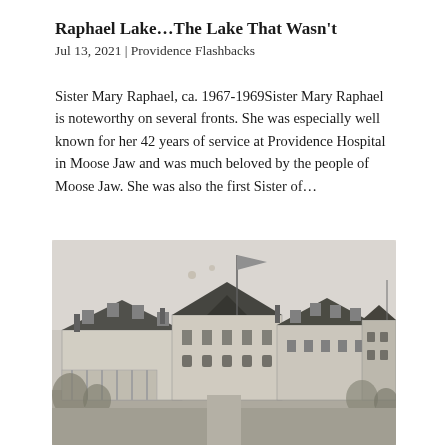Raphael Lake…The Lake That Wasn't
Jul 13, 2021 | Providence Flashbacks
Sister Mary Raphael, ca. 1967-1969Sister Mary Raphael is noteworthy on several fronts. She was especially well known for her 42 years of service at Providence Hospital in Moose Jaw and was much beloved by the people of Moose Jaw. She was also the first Sister of…
[Figure (photo): Black and white historical photograph of Providence Hospital in Moose Jaw, a large multi-story building with Victorian architecture, featuring gabled dormers, a flag pole with a flag flying, and surrounding grounds.]